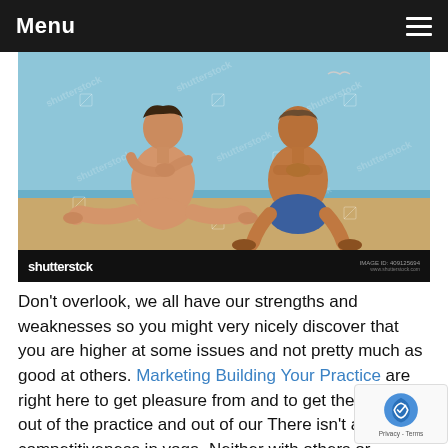Menu
[Figure (photo): Two people doing yoga poses on a beach with blue sky and water in background. Shutterstock watermarked stock photo.]
Don't overlook, we all have our strengths and weaknesses so you might very nicely discover that you are higher at some issues and not pretty much as good at others. Marketing Building Your Practice are right here to get pleasure from and to get the perfect out of the practice and out of our There isn't a competitiveness in yoga. Neither with others or